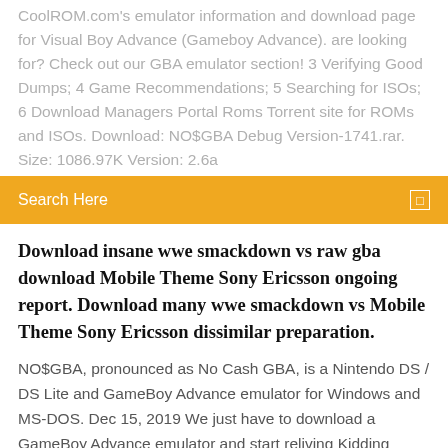CoolROM.com's emulator information and download page for Visual Boy Advance (Gameboy Advance). are looking for? Check out our GBA emulator section! 3 Verifying Good Dumps; 4 Game Recommendations; 5 Searching for ISOs; 6 Download Managers Portal Roms Torrent site for ROMs and ISOs. Download: NO$GBA Debug Version-1741.rar. Size: 1086.97K Version: 2.6a
Search Here
Download insane wwe smackdown vs raw gba download Mobile Theme Sony Ericsson ongoing report. Download many wwe smackdown vs Mobile Theme Sony Ericsson dissimilar preparation.
NO$GBA, pronounced as No Cash GBA, is a Nintendo DS / DS Lite and GameBoy Advance emulator for Windows and MS-DOS. Dec 15, 2019 We just have to download a GameBoy Advance emulator and start reliving Kidding aside, John GBA is easily one of the best GBA emulators. Wii ISO Torrents site is the best